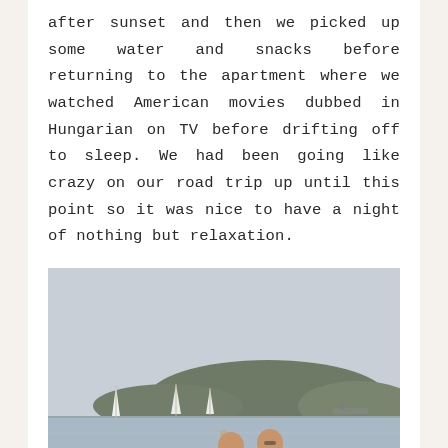after sunset and then we picked up some water and snacks before returning to the apartment where we watched American movies dubbed in Hungarian on TV before drifting off to sleep. We had been going like crazy on our road trip up until this point so it was nice to have a night of nothing but relaxation.
[Figure (photo): Outdoor lake scene with two men wading in calm water, a child in the background, sailboats on the horizon, and hills in the distance under a pale sky.]